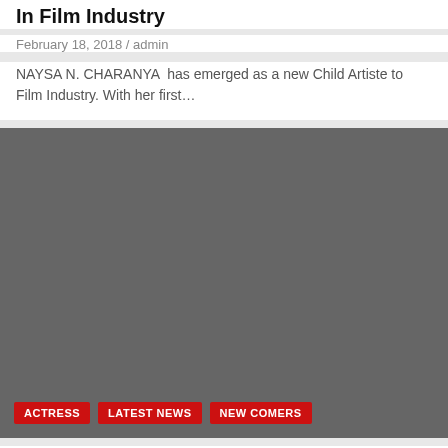In Film Industry
February 18, 2018 / admin
NAYSA N. CHARANYA  has emerged as a new Child Artiste to Film Industry. With her first…
[Figure (photo): Gray placeholder image with category tags at the bottom: ACTRESS, LATEST NEWS, NEW COMERS]
Ashu Surpoor a new talent from Virar knocks Bollywood door after Govinda